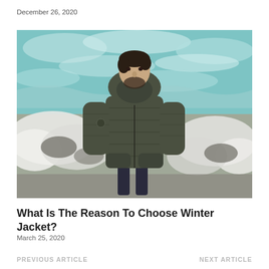December 26, 2020
[Figure (photo): Man wearing a dark olive quilted hooded winter jacket, standing outdoors in front of turbulent water and snow-covered rocks]
What Is The Reason To Choose Winter Jacket?
March 25, 2020
PREVIOUS ARTICLE   NEXT ARTICLE